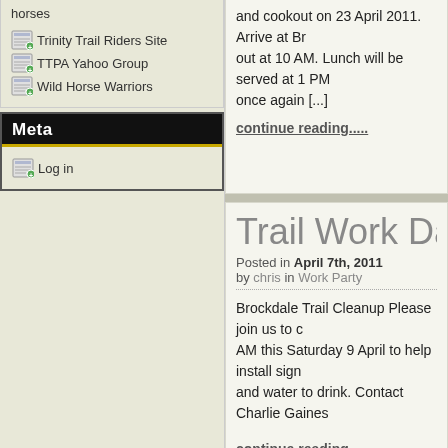horses
Trinity Trail Riders Site
TTPA Yahoo Group
Wild Horse Warriors
Meta
Log in
and cookout on 23 April 2011. Arrive at Br... out at 10 AM. Lunch will be served at 1 PM... once again [...]
continue reading.....
Trail Work Day at Broc
Posted in April 7th, 2011 by chris in Work Party
Brockdale Trail Cleanup Please join us to ... AM this Saturday 9 April to help install sign... and water to drink. Contact Charlie Gaines...
continue reading.....